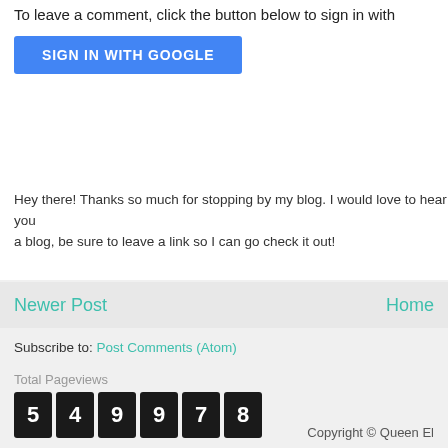To leave a comment, click the button below to sign in with
[Figure (other): Blue 'SIGN IN WITH GOOGLE' button]
Hey there! Thanks so much for stopping by my blog. I would love to hear your... a blog, be sure to leave a link so I can go check it out!
Newer Post
Home
Subscribe to: Post Comments (Atom)
[Figure (other): Total Pageviews counter showing 549978]
Copyright © Queen El